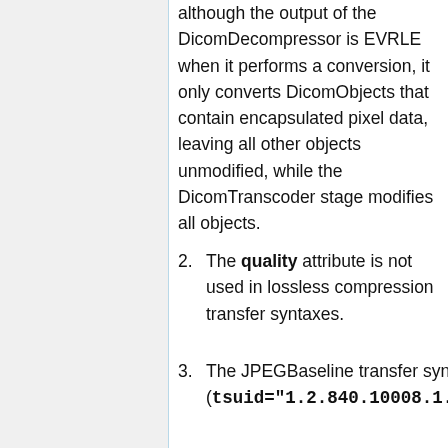although the output of the DicomDecompressor is EVRLE when it performs a conversion, it only converts DicomObjects that contain encapsulated pixel data, leaving all other objects unmodified, while the DicomTranscoder stage modifies all objects.
The quality attribute is not used in lossless compression transfer syntaxes.
The JPEGBaseline transfer syntax (tsuid="1.2.840.10008.1.2.4..." does not work correctly.
The skipJPEGBaseline attribute is just a convenience. Skipping JPEGBaseline objects can also be accomplished by including a ...